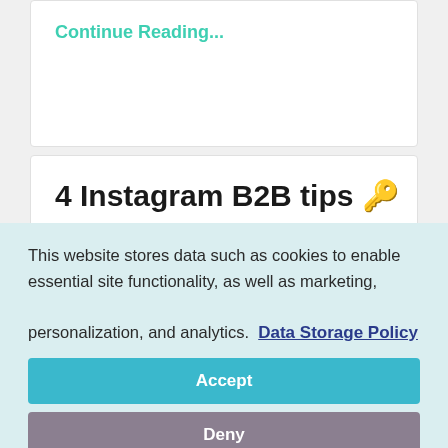Continue Reading...
4 Instagram B2B tips 🔑
2b2, Authority, Credibility, Instagram   Mar 25, 2020
This website stores data such as cookies to enable essential site functionality, as well as marketing, personalization, and analytics. Data Storage Policy
Accept
Deny